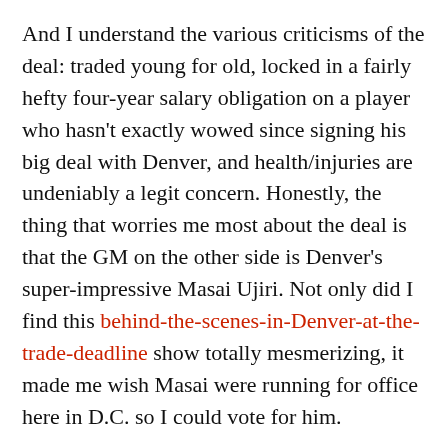And I understand the various criticisms of the deal: traded young for old, locked in a fairly hefty four-year salary obligation on a player who hasn't exactly wowed since signing his big deal with Denver, and health/injuries are undeniably a legit concern. Honestly, the thing that worries me most about the deal is that the GM on the other side is Denver's super-impressive Masai Ujiri. Not only did I find this behind-the-scenes-in-Denver-at-the-trade-deadline show totally mesmerizing, it made me wish Masai were running for office here in D.C. so I could vote for him.
Anyhow, I suppose from Denver's perspective, the Nuggets ensured themselves of getting something for Nene by signing rather than letting him go for nothing in free agency, and McGee gets a 30-game audition to prove himself indispensable to the Nugs or a worthwhile target for a team with some cap space at least. I keep it that...